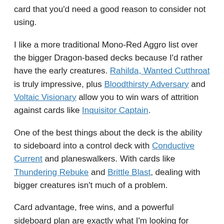card that you'd need a good reason to consider not using.
I like a more traditional Mono-Red Aggro list over the bigger Dragon-based decks because I'd rather have the early creatures. Rahilda, Wanted Cutthroat is truly impressive, plus Bloodthirsty Adversary and Voltaic Visionary allow you to win wars of attrition against cards like Inquisitor Captain.
One of the best things about the deck is the ability to sideboard into a control deck with Conductive Current and planeswalkers. With cards like Thundering Rebuke and Brittle Blast, dealing with bigger creatures isn't much of a problem.
Card advantage, free wins, and a powerful sideboard plan are exactly what I'm looking for when selecting a deck. Mono-Red Aggro has it all.
Dom Harvey — Esper Control